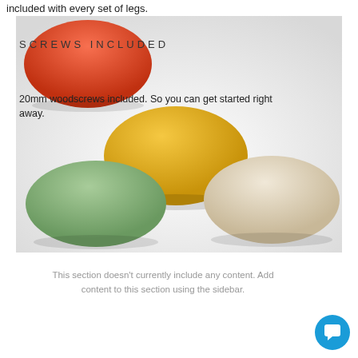included with every set of legs.
[Figure (photo): Photo of colorful dome-shaped furniture leg caps/feet in orange, yellow, green, and cream/beige colors on a white background, with text overlay 'SCREWS INCLUDED' and '20mm woodscrews included. So you can get started right away.']
This section doesn't currently include any content. Add content to this section using the sidebar.